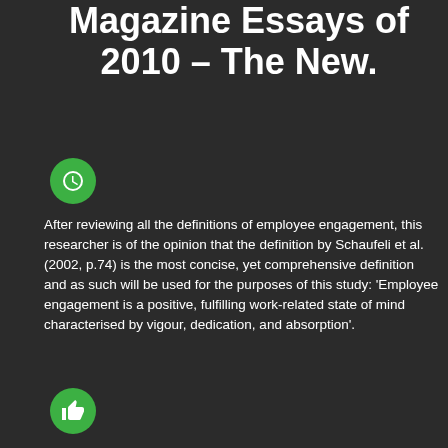Magazine Essays of 2010 – The New.
[Figure (illustration): Green circle icon with a clock/face symbol]
After reviewing all the definitions of employee engagement, this researcher is of the opinion that the definition by Schaufeli et al. (2002, p.74) is the most concise, yet comprehensive definition and as such will be used for the purposes of this study: 'Employee engagement is a positive, fulfilling work-related state of mind characterised by vigour, dedication, and absorption'.
[Figure (illustration): Green circle icon with a thumbs up symbol]
Essence of Care 2010 includes all the benchmarks developed since it was first launched in 2001, including the latest on the Prevention and Management of Pain. All the benchmarks have been reviewed to reflect the current views of people requiring care, carers and staff.
[Figure (illustration): Green circle icon with a leaf/eco symbol]